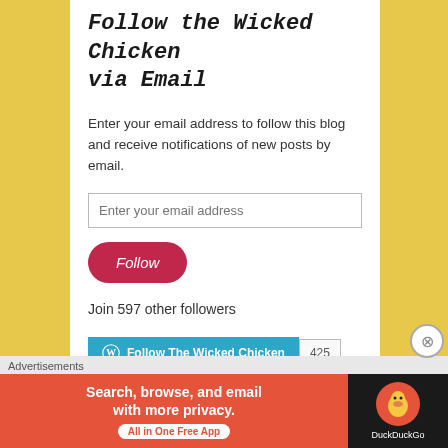Follow the Wicked Chicken via Email
Enter your email address to follow this blog and receive notifications of new posts by email.
Enter your email address
[Figure (other): Red rounded Follow button]
Join 597 other followers
[Figure (other): WordPress Follow The Wicked Chicken button with count 425]
Life in color
Advertisements
[Figure (other): DuckDuckGo advertisement banner: Search, browse, and email with more privacy. All in One Free App.]